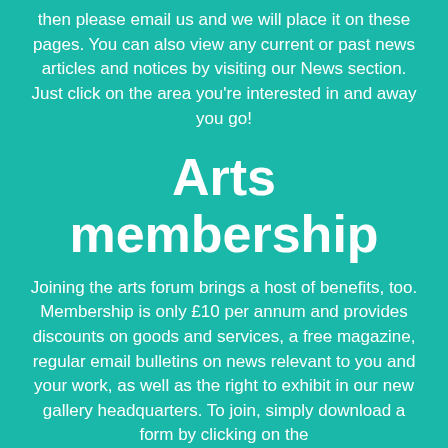then please email us and we will place it on these pages. You can also view any current or past news articles and notices by visiting our News section. Just click on the area you're interested in and away you go!
Arts membership
Joining the arts forum brings a host of benefits, too. Membership is only £10 per annum and provides discounts on goods and services, a free magazine, regular email bulletins on news relevant to you and your work, as well as the right to exhibit in our new gallery headquarters. To join, simply download a form by clicking on the